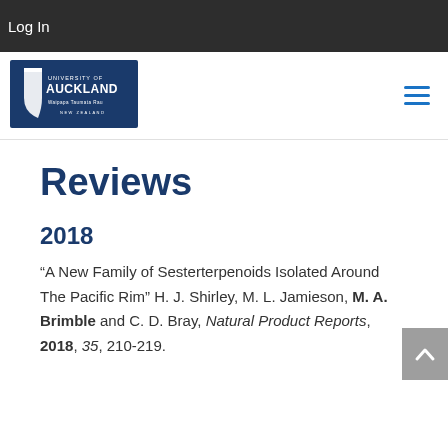Log In
[Figure (logo): University of Auckland logo with shield and text: UNIVERSITY OF AUCKLAND, Waipapa Taumata Rau, NEW ZEALAND]
Reviews
2018
“A New Family of Sesterterpenoids Isolated Around The Pacific Rim” H. J. Shirley, M. L. Jamieson, M. A. Brimble and C. D. Bray, Natural Product Reports, 2018, 35, 210-219.